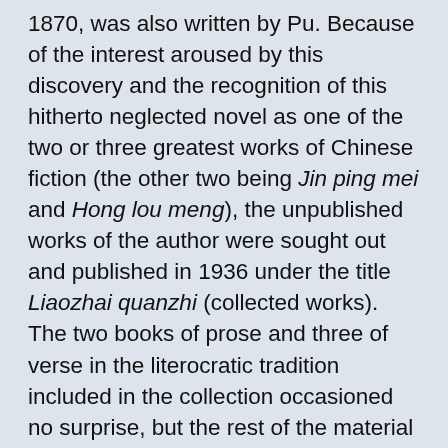1870, was also written by Pu. Because of the interest aroused by this discovery and the recognition of this hitherto neglected novel as one of the two or three greatest works of Chinese fiction (the other two being Jin ping mei and Hong lou meng), the unpublished works of the author were sought out and published in 1936 under the title Liaozhai quanzhi (collected works). The two books of prose and three of verse in the literocratic tradition included in the collection occasioned no surprise, but the rest of the material would have seemed incredible if Hu Shih’s study had not prepared the reader for it, for this body of work comprises seven short satires and eleven longish romances in the guzici or tanci form (singing accompanied by a drum or by a stringed instrument) of the